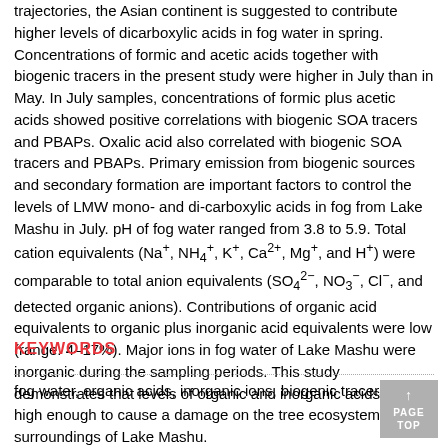trajectories, the Asian continent is suggested to contribute higher levels of dicarboxylic acids in fog water in spring. Concentrations of formic and acetic acids together with biogenic tracers in the present study were higher in July than in May. In July samples, concentrations of formic plus acetic acids showed positive correlations with biogenic SOA tracers and PBAPs. Oxalic acid also correlated with biogenic SOA tracers and PBAPs. Primary emission from biogenic sources and secondary formation are important factors to control the levels of LMW mono- and di-carboxylic acids in fog from Lake Mashu in July. pH of fog water ranged from 3.8 to 5.9. Total cation equivalents (Na+, NH4+, K+, Ca2+, Mg+, and H+) were comparable to total anion equivalents (SO4^2−, NO3^−, Cl^−, and detected organic anions). Contributions of organic acid equivalents to organic plus inorganic acid equivalents were low (range: 4–17%). Major ions in fog water of Lake Mashu were inorganic during the sampling periods. This study demonstrates that levels of organic and inorganic acids are not high enough to cause a damage on the tree ecosystem in the surroundings of Lake Mashu.
KEYWORDS
fog water, organic acids, inorganic ions, biogenic tracers, pH